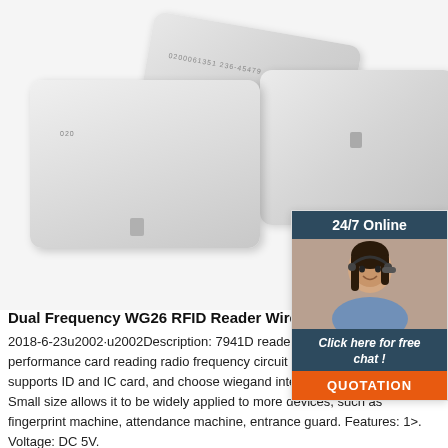[Figure (photo): Two white RFID proximity cards with printed serial numbers, shown at an angle. One card is in front and one slightly behind and to the right.]
[Figure (other): 24/7 Online customer support chat widget with a photo of a woman wearing a headset, dark teal header, italic text 'Click here for free chat!', and an orange QUOTATION button.]
Dual Frequency WG26 RFID Reader Wireless Modu
2018-6-23u2002·u2002Description: 7941D reader module, integrated high performance card reading radio frequency circuit and antenna; and it also supports ID and IC card, and choose wiegand interface to output data. Small size allows it to be widely applied to more devices, such as fingerprint machine, attendance machine, entrance guard. Features: 1>. Voltage: DC 5V.